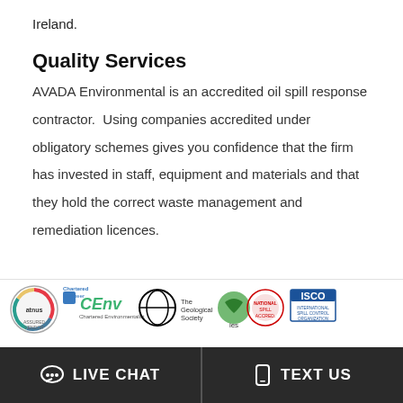Ireland.
Quality Services
AVADA Environmental is an accredited oil spill response contractor. Using companies accredited under obligatory schemes gives you confidence that the firm has invested in staff, equipment and materials and that they hold the correct waste management and remediation licences.
[Figure (logo): Row of accreditation logos: atnus (Assured Vendor), Chartered Engineer CEnv (Chartered Environmentalist), The Geological Society, ies, National Spill Accreditation logo, ISCO (International Spill Control Organization)]
LIVE CHAT   TEXT US